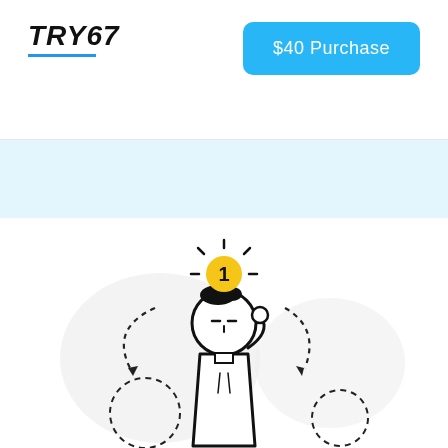TRY67
$40 Purchase
[Figure (illustration): A doodle-style illustration of a person touching their head with a yellow badge showing the number 1 above them, surrounded by dashed circular arrows suggesting ideas or thinking, on a light grey blob background.]